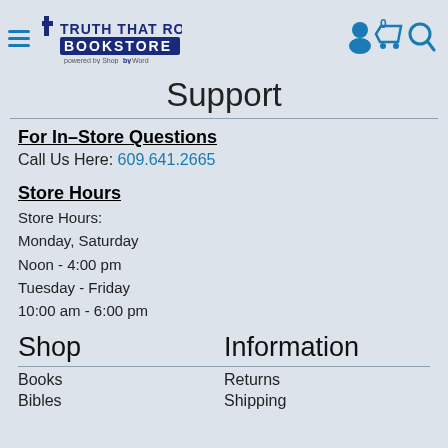Truth That Rocks Bookstore — Navigation header with logo, hamburger menu, user/cart/search icons
Support
For In-Store Questions
Call Us Here: 609.641.2665
Store Hours
Store Hours:
Monday, Saturday
Noon - 4:00 pm
Tuesday - Friday
10:00 am - 6:00 pm
Shop
Information
Books
Bibles
Returns
Shipping